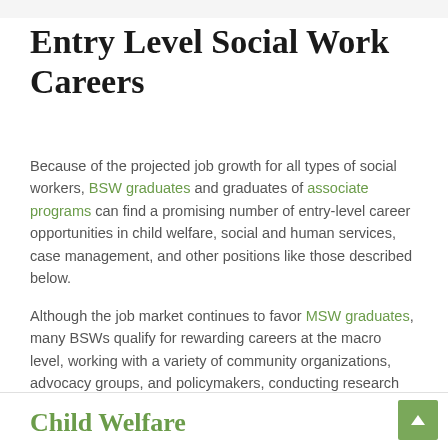Entry Level Social Work Careers
Because of the projected job growth for all types of social workers, BSW graduates and graduates of associate programs can find a promising number of entry-level career opportunities in child welfare, social and human services, case management, and other positions like those described below.
Although the job market continues to favor MSW graduates, many BSWs qualify for rewarding careers at the macro level, working with a variety of community organizations, advocacy groups, and policymakers, conducting research and developing social welfare initiatives.
Child Welfare